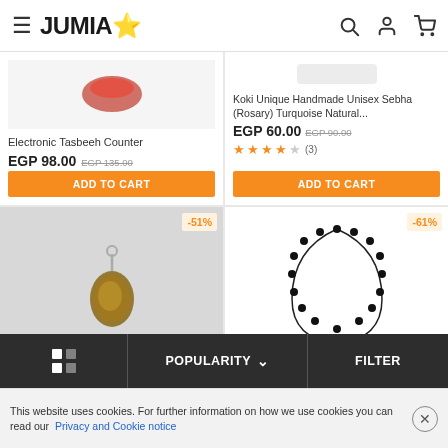JUMIA
Electronic Tasbeeh Counter
EGP 98.00  EGP 135.00
ADD TO CART
Koki Unique Handmade Unisex Sebha (Rosary) Turquoise Natural...
EGP 60.00  EGP 90.00
★★★★☆ (3)
ADD TO CART
[Figure (photo): Bottom-left product card showing a tiger's eye pendant with -51% discount badge]
[Figure (photo): Bottom-right product card showing a black bead rosary/necklace with -61% discount badge]
POPULARITY  ∨    FILTER
This website uses cookies. For further information on how we use cookies you can read our  Privacy and Cookie notice